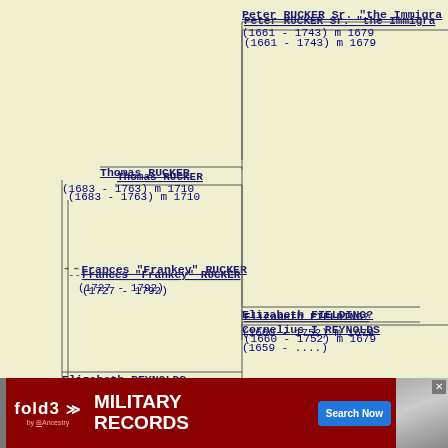[Figure (organizational-chart): Genealogy/family tree chart showing ancestry relationships. Peter RUCKER Sr. 'the Immigra...' (1661-1743) m 1679 at top right, connected to Thomas RUCKER (1683-1763) m 1710 at left, Elizabeth FIELDING? (1660-1752) m 1679 at right middle. Frances 'Frankey' RUCKER (1727-1792) in center-left. Elizabeth REYNOLDS (1690-1788) m 1710 at lower left connected to Cornelius I REYNOLDS (1659-....) at lower right. Partial text at bottom cut off.]
[Figure (infographic): Advertisement banner for fold3 Military Records by Ancestry, with Search Now button and soldier photo.]